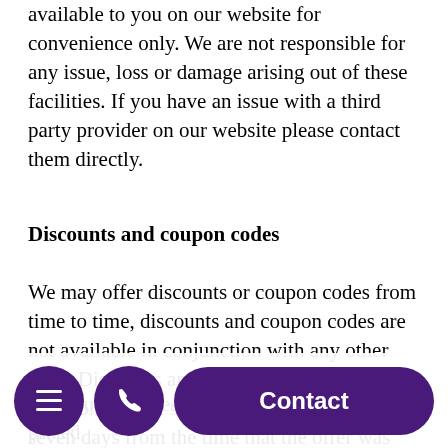available to you on our website for convenience only. We are not responsible for any issue, loss or damage arising out of these facilities. If you have an issue with a third party provider on our website please contact them directly.
Discounts and coupon codes
We may offer discounts or coupon codes from time to time, discounts and coupon codes are not available in conjunction with any other offer. Discounts and coupon codes are available for the stated time or for a period of seven days from the time that the offer was first made or until stocks run out – whichever occurs first.
and coupon codes are redeemable on full priced